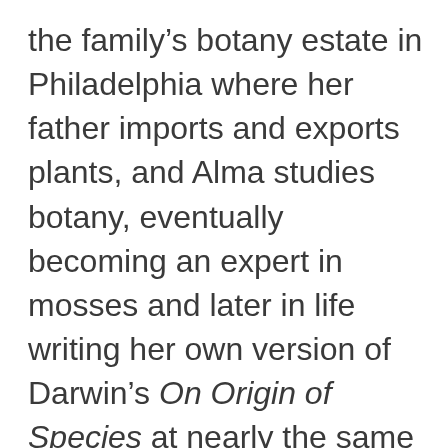the family's botany estate in Philadelphia where her father imports and exports plants, and Alma studies botany, eventually becoming an expert in mosses and later in life writing her own version of Darwin's On Origin of Species at nearly the same time as Darwin worked on his own.  The various subplots such as her sister Prudence becoming an abolitionist